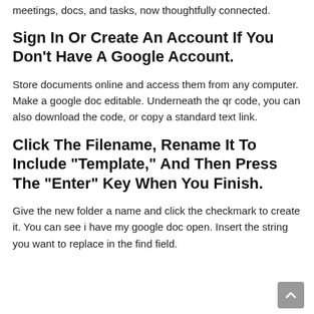meetings, docs, and tasks, now thoughtfully connected.
Sign In Or Create An Account If You Don't Have A Google Account.
Store documents online and access them from any computer. Make a google doc editable. Underneath the qr code, you can also download the code, or copy a standard text link.
Click The Filename, Rename It To Include "Template," And Then Press The "Enter" Key When You Finish.
Give the new folder a name and click the checkmark to create it. You can see i have my google doc open. Insert the string you want to replace in the find field.